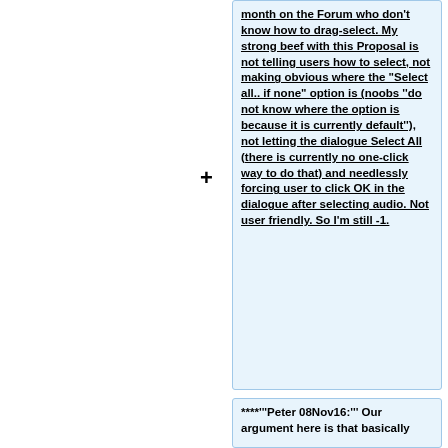month on the Forum who don't know how to drag-select. My strong beef with this Proposal is not telling users how to select, not making obvious where the "Select all.. if none" option is (noobs ''do not know where the option is because it is currently default''), not letting the dialogue Select All (there is currently no one-click way to do that) and needlessly forcing user to click OK in the dialogue after selecting audio. Not user friendly. So I'm still -1.
****'''Peter 08Nov16:''' Our argument here is that basically